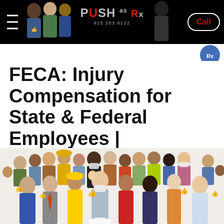PUSH as Rx | 915.203.8122 | Call
FECA: Injury Compensation for State & Federal Employees | Chiropractic Care
[Figure (photo): Large group of diverse workers and professionals including people in various occupations, some wearing hard hats and masks, posing together as a crowd]